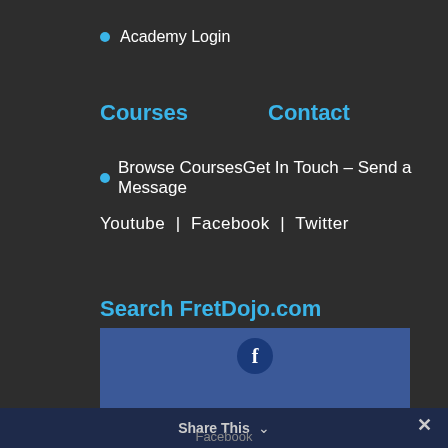Academy Login
Courses
Contact
Browse CoursesGet In Touch – Send a Message
Youtube | Facebook | Twitter
Search FretDojo.com
15.1k Follows
[Figure (screenshot): Facebook follow widget with blue background showing Facebook icon]
Share This ∨ Facebook